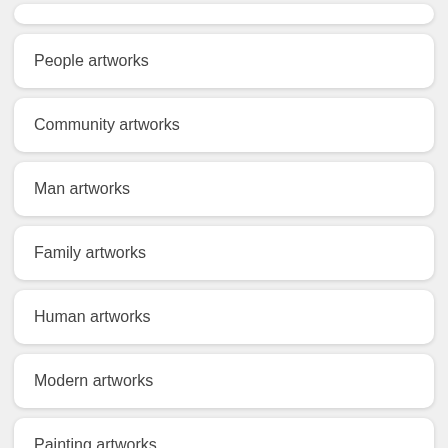People artworks
Community artworks
Man artworks
Family artworks
Human artworks
Modern artworks
Painting artworks